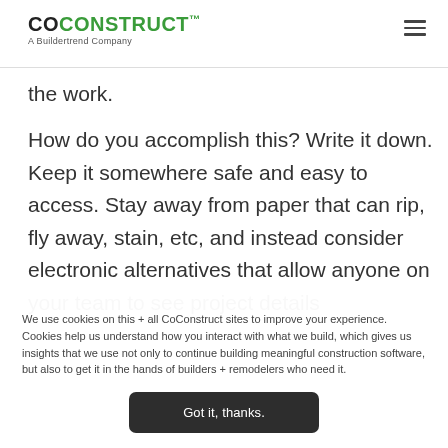COCONSTRUCT™ A Buildertrend Company
the work.
How do you accomplish this? Write it down. Keep it somewhere safe and easy to access. Stay away from paper that can rip, fly away, stain, etc, and instead consider electronic alternatives that allow anyone on your team to see project details
We use cookies on this + all CoConstruct sites to improve your experience. Cookies help us understand how you interact with what we build, which gives us insights that we use not only to continue building meaningful construction software, but also to get it in the hands of builders + remodelers who need it.
Got it, thanks.